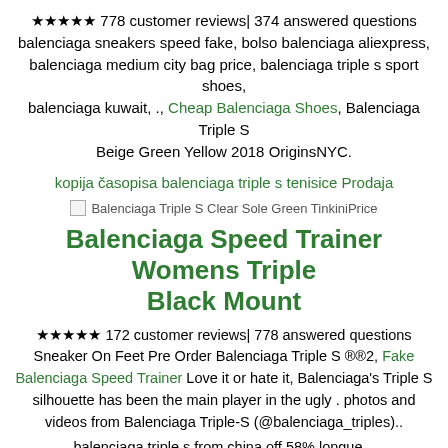★★★★★ 778 customer reviews| 374 answered questions balenciaga sneakers speed fake, bolso balenciaga aliexpress, balenciaga medium city bag price, balenciaga triple s sport shoes, balenciaga kuwait, ., Cheap Balenciaga Shoes, Balenciaga Triple S Beige Green Yellow 2018 OriginsNYC.
kopija časopisa balenciaga triple s tenisice Prodaja
[Figure (other): Balenciaga Triple S Clear Sole Green TinkiniPrice image placeholder]
Balenciaga Speed Trainer Womens Triple Black Mount
★★★★★ 172 customer reviews| 778 answered questions Sneaker On Feet Pre Order Balenciaga Triple S 세일2, Fake Balenciaga Speed Trainer Love it or hate it, Balenciaga's Triple S silhouette has been the main player in the ugly . photos and videos from Balenciaga Triple-S (@balenciaga_triples)..
balenciaga triple s from china off 58% longue...